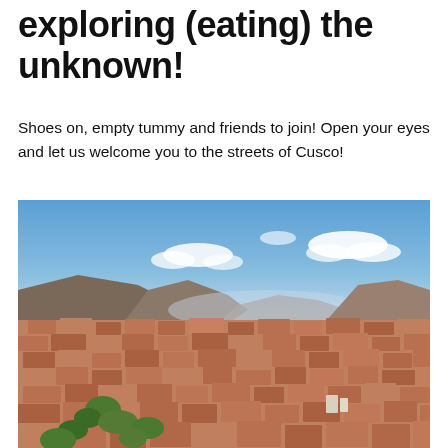exploring (eating) the unknown!
Shoes on, empty tummy and friends to join! Open your eyes and let us welcome you to the streets of Cusco!
[Figure (photo): Aerial panoramic view of the city of Cusco, Peru, showing densely packed terracotta-roofed buildings spread across a valley surrounded by mountains, with a blue sky and scattered white clouds above.]